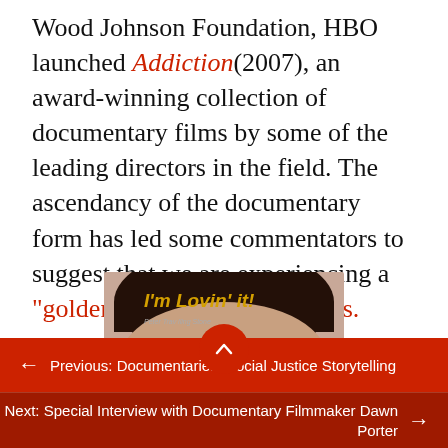Wood Johnson Foundation, HBO launched Addiction(2007), an award-winning collection of documentary films by some of the leading directors in the field. The ascendancy of the documentary form has led some commentators to suggest that we are experiencing a "golden age" of documentaries.
[Figure (photo): Book cover of 'I'm Lovin' it!' by Peter Travis and Oliver Stone, showing a person's forehead/face close-up with the title in yellow italic text]
← Previous: Documentaries: Social Justice Storytelling
Next: Special Interview with Documentary Filmmaker Dawn Porter →